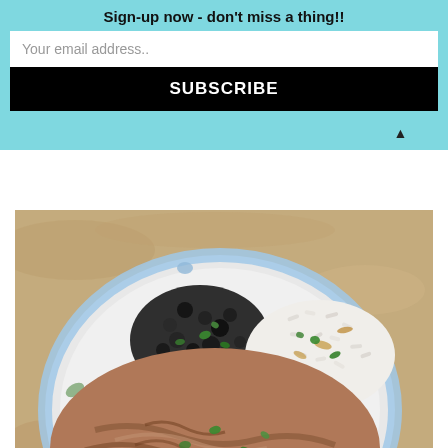Sign-up now - don't miss a thing!!
Your email address..
SUBSCRIBE
[Figure (photo): A decorative plate with shredded pork, black beans, and white rice garnished with fresh parsley, served on a granite countertop]